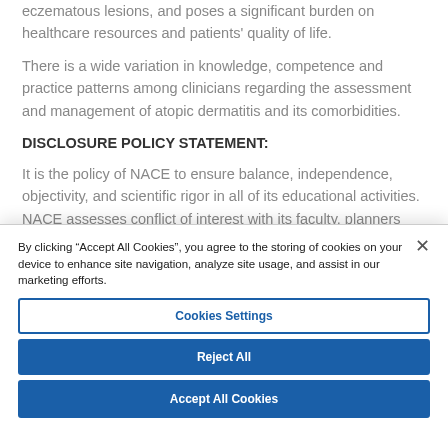eczematous lesions, and poses a significant burden on healthcare resources and patients' quality of life.
There is a wide variation in knowledge, competence and practice patterns among clinicians regarding the assessment and management of atopic dermatitis and its comorbidities.
DISCLOSURE POLICY STATEMENT:
It is the policy of NACE to ensure balance, independence, objectivity, and scientific rigor in all of its educational activities. NACE assesses conflict of interest with its faculty, planners and managers of CME activities. Conflicts of interest that are identified are resolved by reviewing that presenter's content for
By clicking “Accept All Cookies”, you agree to the storing of cookies on your device to enhance site navigation, analyze site usage, and assist in our marketing efforts.
Cookies Settings
Reject All
Accept All Cookies